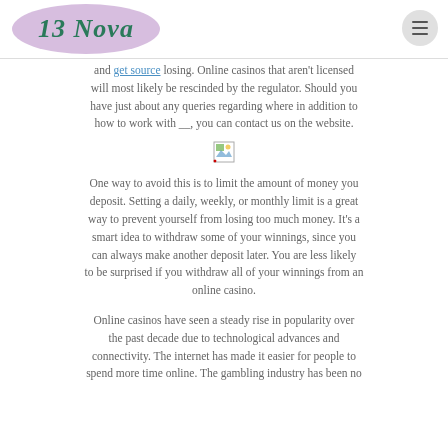[Figure (logo): 13 Nova logo — italic teal text '13 Nova' on a purple/lavender oval background]
and get source losing. Online casinos that aren't licensed will most likely be rescinded by the regulator. Should you have just about any queries regarding where in addition to how to work with __, you can contact us on the website.
[Figure (photo): Small broken image placeholder icon]
One way to avoid this is to limit the amount of money you deposit. Setting a daily, weekly, or monthly limit is a great way to prevent yourself from losing too much money. It's a smart idea to withdraw some of your winnings, since you can always make another deposit later. You are less likely to be surprised if you withdraw all of your winnings from an online casino.
Online casinos have seen a steady rise in popularity over the past decade due to technological advances and connectivity. The internet has made it easier for people to spend more time online. The gambling industry has been no